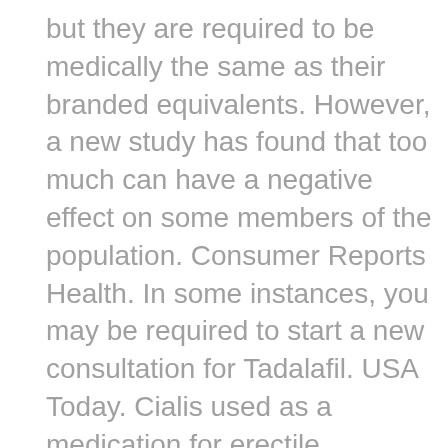but they are required to be medically the same as their branded equivalents. However, a new study has found that too much can have a negative effect on some members of the population. Consumer Reports Health. In some instances, you may be required to start a new consultation for Tadalafil. USA Today. Cialis used as a medication for erectile dysfunction. The 2. When Pfizer lost its patent on Viagra inother manufacturers began making generic sildenafil, resulting in a